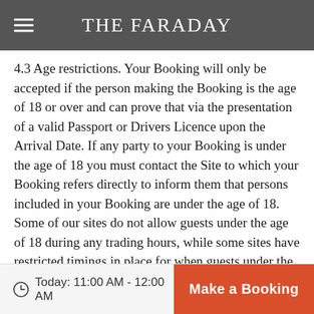THE FARADAY
4.3 Age restrictions. Your Booking will only be accepted if the person making the Booking is the age of 18 or over and can prove that via the presentation of a valid Passport or Drivers Licence upon the Arrival Date. If any party to your Booking is under the age of 18 you must contact the Site to which your Booking refers directly to inform them that persons included in your Booking are under the age of 18. Some of our sites do not allow guests under the age of 18 during any trading hours, while some sites have restricted timings in place for when guests under the age of 18 are allowed on the premises. Please ask the site for guidance on timings. If the person who made the Booking, or any persons party to the Booking, cannot prove they are the age of 18 or over upon arrival at the Site, or if the Site has not been contacted and informed prior to the Arrival Date that persons in the party to a Booking are under the age of 18, we reserve the right to cancel your
Today: 11:00 AM - 12:00 AM   Make a Booking